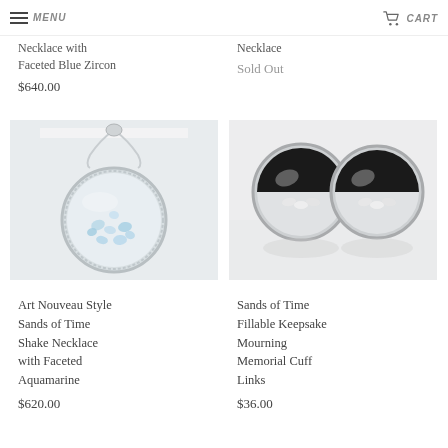Menu | Cart
Necklace with Faceted Blue Zircon
$640.00
Necklace
Sold Out
[Figure (photo): Silver pendant necklace with round disc containing scattered aquamarine blue faceted gemstones, shown on white background with chain visible.]
[Figure (photo): Two silver circular cuff links with clear/white faceted gemstones set in lower half of each disc, on white background.]
Art Nouveau Style Sands of Time Shake Necklace with Faceted Aquamarine
$620.00
Sands of Time Fillable Keepsake Mourning Memorial Cuff Links
$36.00